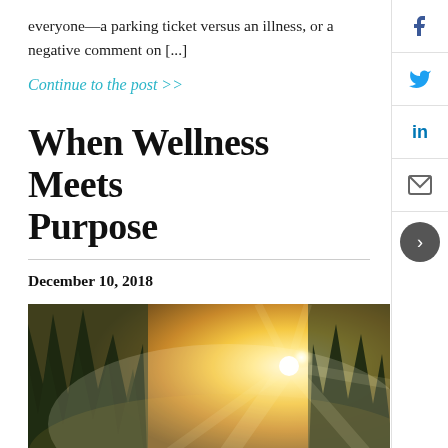everyone—a parking ticket versus an illness, or a negative comment on [...]
Continue to the post >>
When Wellness Meets Purpose
December 10, 2018
[Figure (photo): Forest scene with bright sunburst breaking through tall trees, warm golden light, misty atmosphere]